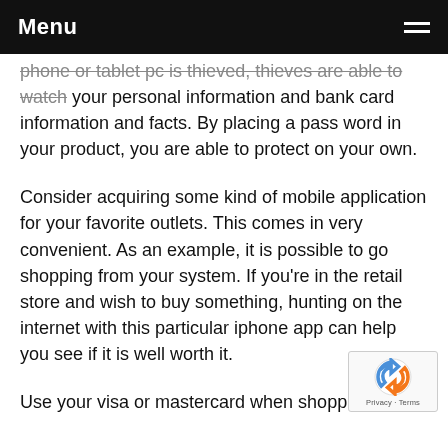Menu
phone or tablet pc is thieved, thieves are able to watch your personal information and bank card information and facts. By placing a pass word in your product, you are able to protect on your own.
Consider acquiring some kind of mobile application for your favorite outlets. This comes in very convenient. As an example, it is possible to go shopping from your system. If you're in the retail store and wish to buy something, hunting on the internet with this particular iphone app can help you see if it is well worth it.
Use your visa or mastercard when shopping on the